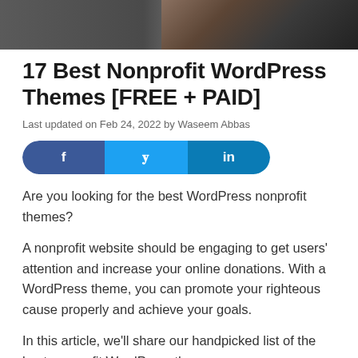[Figure (photo): Hero image showing a laptop keyboard, dark toned photograph]
17 Best Nonprofit WordPress Themes [FREE + PAID]
Last updated on Feb 24, 2022 by Waseem Abbas
[Figure (infographic): Social share buttons: Facebook (blue), Twitter (light blue), LinkedIn (dark blue)]
Are you looking for the best WordPress nonprofit themes?
A nonprofit website should be engaging to get users' attention and increase your online donations. With a WordPress theme, you can promote your righteous cause properly and achieve your goals.
In this article, we'll share our handpicked list of the best nonprofit WordPress themes.